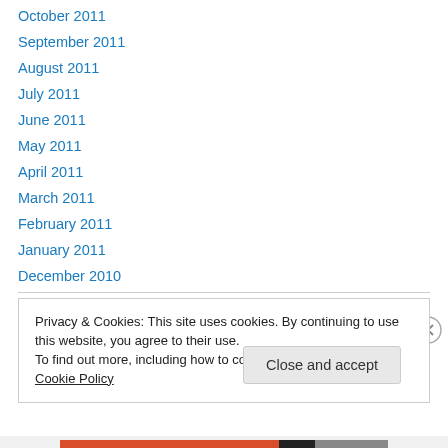October 2011
September 2011
August 2011
July 2011
June 2011
May 2011
April 2011
March 2011
February 2011
January 2011
December 2010
Privacy & Cookies: This site uses cookies. By continuing to use this website, you agree to their use.
To find out more, including how to control cookies, see here: Cookie Policy
Close and accept